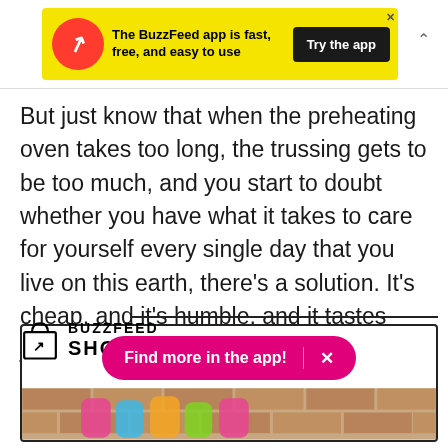[Figure (screenshot): BuzzFeed app advertisement banner with yellow background, red circle logo with white arrow, text 'The BuzzFeed app is fast, free, and easy to use', and a dark 'Try the app' button]
But just know that when the preheating oven takes too long, the trussing gets to be too much, and you start to doubt whether you have what it takes to care for yourself every single day that you live on this earth, there's a solution. It's cheap, and it's humble, and it tastes just like home.
[Figure (screenshot): BuzzFeed Shopping section with shopping bag logo, 'BUZZFEED SHOPPING' text, horizontal border lines, a pink 'Find more in the app!' button with X close, and a product image showing colorful items against a brick wall background]